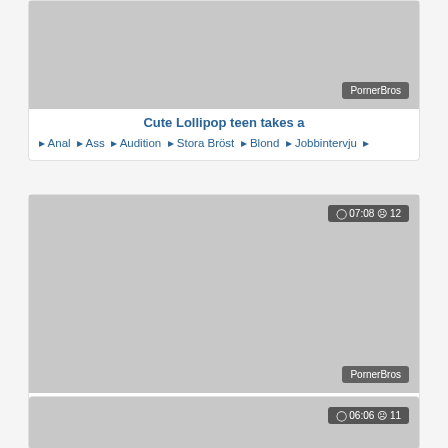[Figure (screenshot): Video thumbnail card 1 with PornerBros badge, title 'Cute Lollipop teen takes a', tags: Anal, Ass, Audition, Stora Bröst, Blond, Jobbintervju]
Cute Lollipop teen takes a
Anal  Ass  Audition  Stora Bröst  Blond  Jobbintervju
[Figure (screenshot): Video thumbnail card 2 with time badge 07:08 views 12, PornerBros badge, title 'She is back for more', tags: Beach, Bikini, Pool, Ingefära, Tonåring (18-19)]
She is back for more
Beach  Bikini  Pool  Ingefära  Tonåring (18-19)
[Figure (screenshot): Video thumbnail card 3 with time badge 06:06 views 11, partially visible]